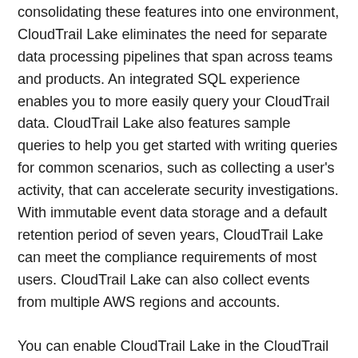consolidating these features into one environment, CloudTrail Lake eliminates the need for separate data processing pipelines that span across teams and products. An integrated SQL experience enables you to more easily query your CloudTrail data. CloudTrail Lake also features sample queries to help you get started with writing queries for common scenarios, such as collecting a user's activity, that can accelerate security investigations. With immutable event data storage and a default retention period of seven years, CloudTrail Lake can meet the compliance requirements of most users. CloudTrail Lake can also collect events from multiple AWS regions and accounts.
You can enable CloudTrail Lake in the CloudTrail console, by using the AWS Software Development Kits (SDKs), or by using the AWS Command Line Interface (CLI). CloudTrail Lake is currently available in the following regions: US East (N. Virginia), US East (Ohio), US West (N. California), US West (Oregon), Canada (Central), Europe (Ireland), Europe (London), Europe (Paris), Europe (Frankfurt), Europe (Stockholm), Asia Pacific (Tokyo), Asia Pacific (Seoul), Asia Pacific (Osaka), Asia Pacific (Singapore), Asia Pacific (Sydney), Asia Pacific